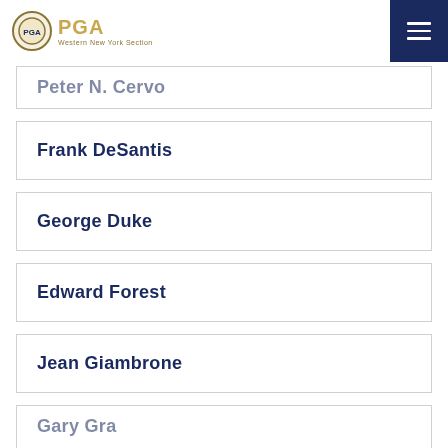PGA Western New York Section
Peter N. Cervo
Frank DeSantis
George Duke
Edward Forest
Jean Giambrone
Gary Gra...